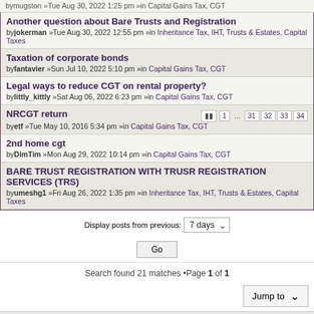bymugston »Tue Aug 30, 2022 1:25 pm »in Capital Gains Tax, CGT
Another question about Bare Trusts and Registration
byjokerman »Tue Aug 30, 2022 12:55 pm »in Inheritance Tax, IHT, Trusts & Estates, Capital Taxes
Taxation of corporate bonds
byfantavier »Sun Jul 10, 2022 5:10 pm »in Capital Gains Tax, CGT
Legal ways to reduce CGT on rental property?
bylittly_kittly »Sat Aug 06, 2022 6:23 pm »in Capital Gains Tax, CGT
NRCGT return
byetf »Tue May 10, 2016 5:34 pm »in Capital Gains Tax, CGT [pages: 1 ... 31 32 33 34]
2nd home cgt
byDimTim »Mon Aug 29, 2022 10:14 pm »in Capital Gains Tax, CGT
BARE TRUST REGISTRATION WITH TRUSR REGISTRATION SERVICES (TRS)
byumeshg1 »Fri Aug 26, 2022 1:35 pm »in Inheritance Tax, IHT, Trusts & Estates, Capital Taxes
Display posts from previous: 7 days
Go
Search found 21 matches •Page 1 of 1
Jump to
Board index   The team
Powered by phpBB® Forum Software © phpBB Limited